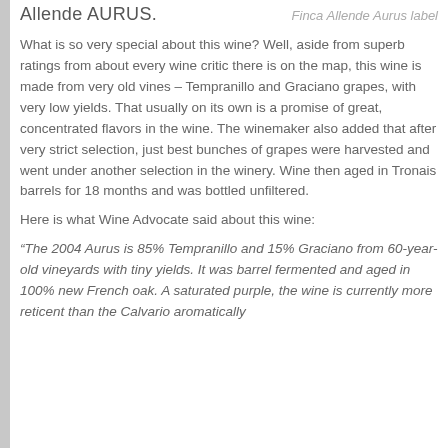Allende AURUS.
Finca Allende Aurus label
What is so very special about this wine? Well, aside from superb ratings from about every wine critic there is on the map, this wine is made from very old vines – Tempranillo and Graciano grapes, with very low yields. That usually on its own is a promise of great, concentrated flavors in the wine. The winemaker also added that after very strict selection, just best bunches of grapes were harvested and went under another selection in the winery. Wine then aged in Tronais barrels for 18 months and was bottled unfiltered.
Here is what Wine Advocate said about this wine:
“The 2004 Aurus is 85% Tempranillo and 15% Graciano from 60-year-old vineyards with tiny yields. It was barrel fermented and aged in 100% new French oak. A saturated purple, the wine is currently more reticent than the Calvario aromatically